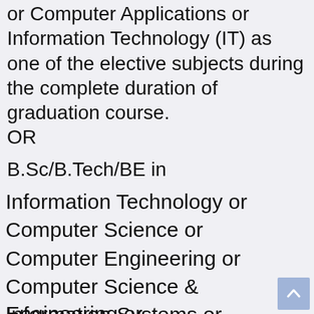or Computer Applications or Information Technology (IT) as one of the elective subjects during the complete duration of graduation course.
OR
B.Sc/B.Tech/BE in
Information Technology or
Computer Science or
Computer Engineering or
Computer Science & Engineering or
Information Systems or